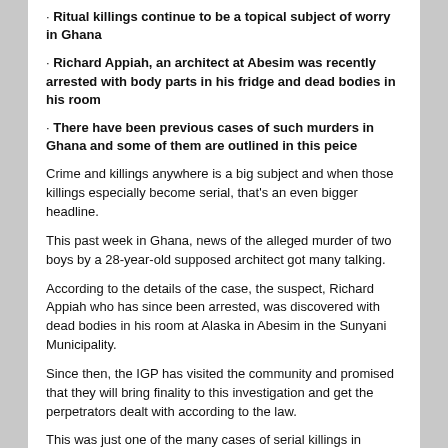· Ritual killings continue to be a topical subject of worry in Ghana
· Richard Appiah, an architect at Abesim was recently arrested with body parts in his fridge and dead bodies in his room
· There have been previous cases of such murders in Ghana and some of them are outlined in this peice
Crime and killings anywhere is a big subject and when those killings especially become serial, that's an even bigger headline.
This past week in Ghana, news of the alleged murder of two boys by a 28-year-old supposed architect got many talking.
According to the details of the case, the suspect, Richard Appiah who has since been arrested, was discovered with dead bodies in his room at Alaska in Abesim in the Sunyani Municipality.
Since then, the IGP has visited the community and promised that they will bring finality to this investigation and get the perpetrators dealt with according to the law.
This was just one of the many cases of serial killings in Ghana. There have been, prior to this, many cases of serial killings where individuals are found with parts of their bodies severed and detached. In some other cases, the killers were identified and found with body parts.
This peice compiles a list of these cases as they happened in the past: